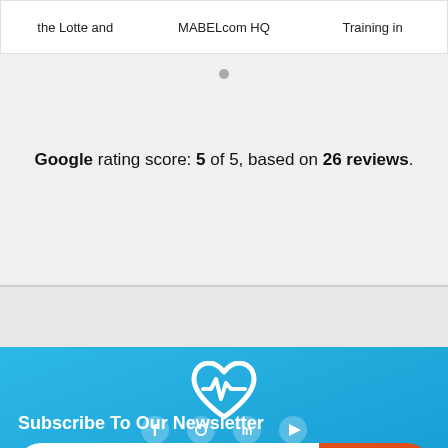the Lotte and ... MABELcom HQ ... Training in ...
Google rating score: 5 of 5, based on 26 reviews.
[Figure (illustration): White heart/medical pulse icon on blue background]
Subscribe To Our Newsletter
Your email address  SUBMIT